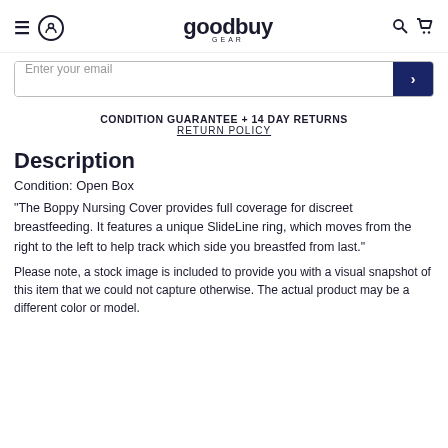goodbuy gear
Enter your email
CONDITION GUARANTEE + 14 DAY RETURNS
RETURN POLICY
Description
Condition: Open Box
"The Boppy Nursing Cover provides full coverage for discreet breastfeeding. It features a unique SlideLine ring, which moves from the right to the left to help track which side you breastfed from last."
Please note, a stock image is included to provide you with a visual snapshot of this item that we could not capture otherwise. The actual product may be a different color or model.